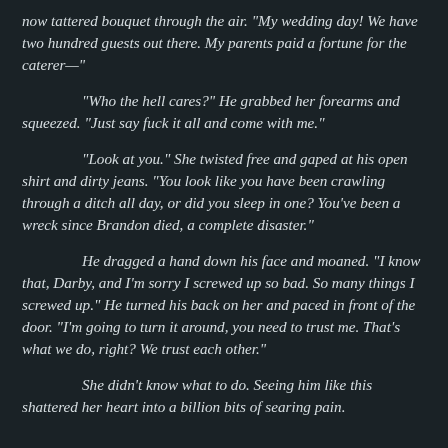now tattered bouquet through the air. "My wedding day! We have two hundred guests out there. My parents paid a fortune for the caterer—"
"Who the hell cares?" He grabbed her forearms and squeezed. "Just say fuck it all and come with me."
"Look at you." She twisted free and gaped at his open shirt and dirty jeans. "You look like you have been crawling through a ditch all day, or did you sleep in one? You've been a wreck since Brandon died, a complete disaster."
He dragged a hand down his face and moaned. "I know that, Darby, and I'm sorry I screwed up so bad. So many things I screwed up." He turned his back on her and paced in front of the door. "I'm going to turn it around, you need to trust me. That's what we do, right? We trust each other."
She didn't know what to do. Seeing him like this shattered her heart into a billion bits of searing pain.